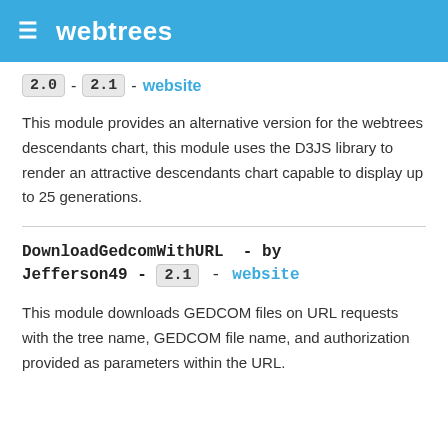webtrees
2.0 - 2.1 - website
This module provides an alternative version for the webtrees descendants chart, this module uses the D3JS library to render an attractive descendants chart capable to display up to 25 generations.
DownloadGedcomWithURL - by Jefferson49 - 2.1 - website
This module downloads GEDCOM files on URL requests with the tree name, GEDCOM file name, and authorization provided as parameters within the URL.